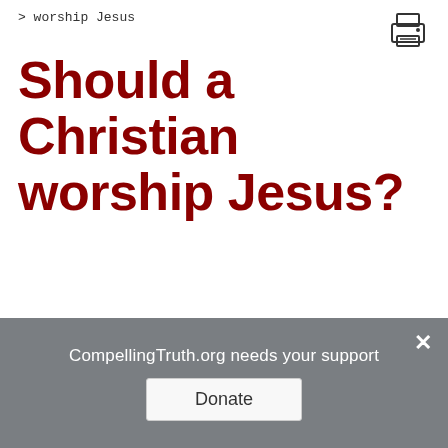> worship Jesus
Should a Christian worship Jesus?
If Jesus is God, yes, a Christian should worship Jesus. Deuteronomy 6:13 says, "You shall fear only the LORD your God; and you shall worship Him and swear by His name" (NASB). Jesus quotes this
CompellingTruth.org needs your support
Donate